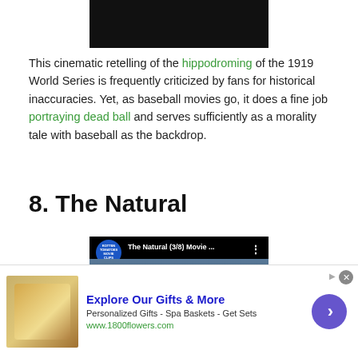[Figure (screenshot): Black video thumbnail at top of page]
This cinematic retelling of the hippodroming of the 1919 World Series is frequently criticized by fans for historical inaccuracies. Yet, as baseball movies go, it does a fine job portraying dead ball and serves sufficiently as a morality tale with baseball as the backdrop.
8. The Natural
[Figure (screenshot): YouTube video thumbnail for 'The Natural (3/8) Movie ...' from Rotten Tomatoes Movie Clips channel, showing a baseball player in a navy cap]
[Figure (screenshot): Advertisement banner for 1800flowers.com: Explore Our Gifts & More - Personalized Gifts - Spa Baskets - Get Sets]